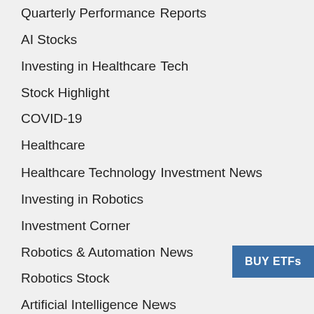Quarterly Performance Reports
AI Stocks
Investing in Healthcare Tech
Stock Highlight
COVID-19
Healthcare
Healthcare Technology Investment News
Investing in Robotics
Investment Corner
Robotics & Automation News
Robotics Stock
Artificial Intelligence News
Diagnostics